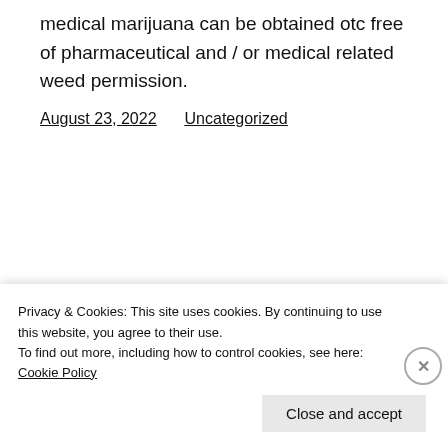medical marijuana can be obtained otc free of pharmaceutical and / or medical related weed permission.
August 23, 2022    Uncategorized
Football
Privacy & Cookies: This site uses cookies. By continuing to use this website, you agree to their use.
To find out more, including how to control cookies, see here: Cookie Policy
Close and accept